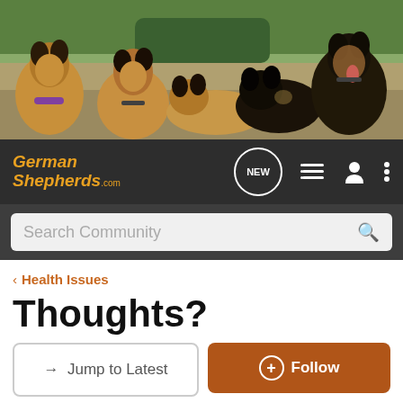[Figure (photo): Banner image showing multiple German Shepherds in a field]
GermanShepherds.com navigation bar with NEW button, list icon, user icon, and menu icon
Search Community
< Health Issues
Thoughts?
→ Jump to Latest
+ Follow
1 - 14 of 14 Posts
Grissom · Registered
Joined Jan 6, 2010 · 250 Posts